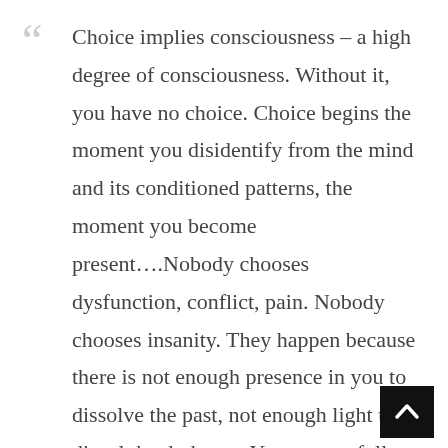Choice implies consciousness – a high degree of consciousness. Without it, you have no choice. Choice begins the moment you disidentify from the mind and its conditioned patterns, the moment you become present….Nobody chooses dysfunction, conflict, pain. Nobody chooses insanity. They happen because there is not enough presence in you to dissolve the past, not enough light to dispel the darkness. You are not fully here. You have not quite woken up yet. In the meantime, the conditioned mind is running your life. Eckhart Tolle
In the place of stillness, rises potential. From the place of potential, emerges possibility.